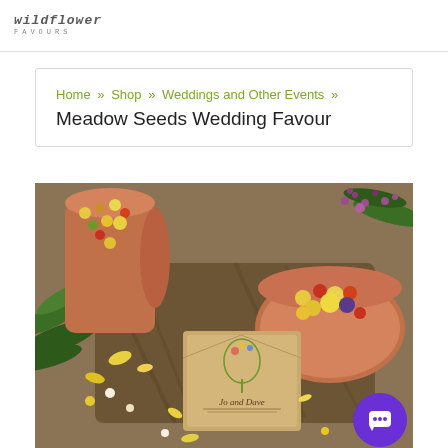wildflower FAVOURS
Home » Shop » Weddings and Other Events » Meadow Seeds Wedding Favour
[Figure (photo): Overhead photo of terracotta pots filled with dried flower petals and meadow seeds, with a kraft paper seed packet envelope labeled 'Jo and Dave' with floral illustrations, surrounded by ferns and colorful dried petals on a wooden surface.]